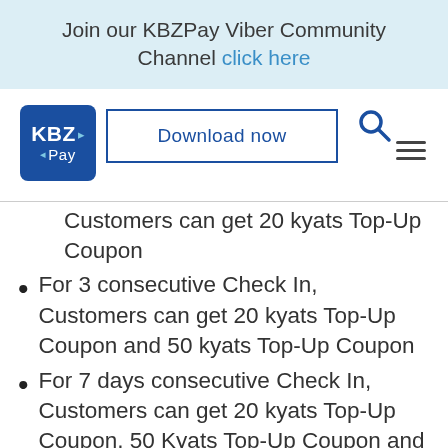Join our KBZPay Viber Community Channel click here
[Figure (logo): KBZPay logo — blue square with KBZ Pay text in white]
Download now
Customers can get 20 kyats Top-Up Coupon
For 3 consecutive Check In, Customers can get 20 kyats Top-Up Coupon and 50 kyats Top-Up Coupon
For 7 days consecutive Check In, Customers can get 20 kyats Top-Up Coupon, 50 Kyats Top-Up Coupon and 100 kyats Cash